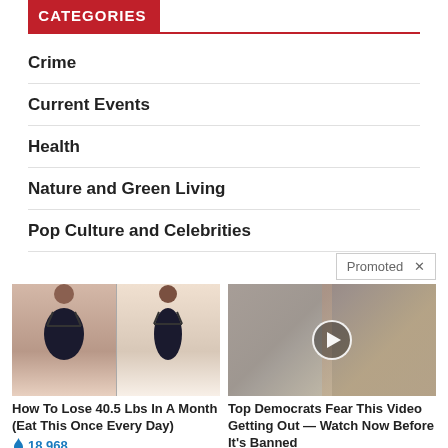CATEGORIES
Crime
Current Events
Health
Nature and Green Living
Pop Culture and Celebrities
Promoted X
[Figure (photo): Before and after weight loss photos showing two women from behind in black swimwear]
How To Lose 40.5 Lbs In A Month (Eat This Once Every Day)
18,968
[Figure (photo): Photo of Melania and Donald Trump with a video play button overlay]
Top Democrats Fear This Video Getting Out — Watch Now Before It's Banned
299,116